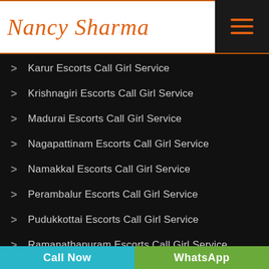[Figure (logo): Nancy Sharma logo in orange cursive/script font with orange underline, and a dark hamburger menu button on the right]
Karur Escorts Call Girl Service
Krishnagiri Escorts Call Girl Service
Madurai Escorts Call Girl Service
Nagapattinam Escorts Call Girl Service
Namakkal Escorts Call Girl Service
Perambalur Escorts Call Girl Service
Pudukkottai Escorts Call Girl Service
Ramanathapuram Escorts Call Girl Service
Call Now | WhatsApp